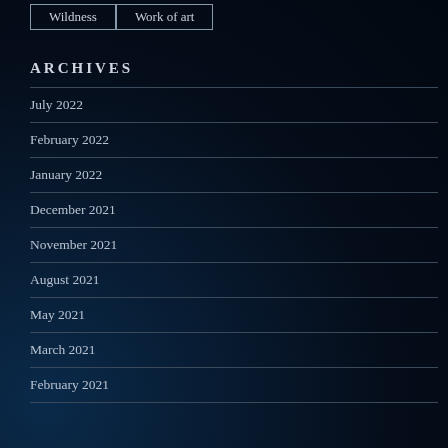Wildness
Work of art
ARCHIVES
July 2022
February 2022
January 2022
December 2021
November 2021
August 2021
May 2021
March 2021
February 2021